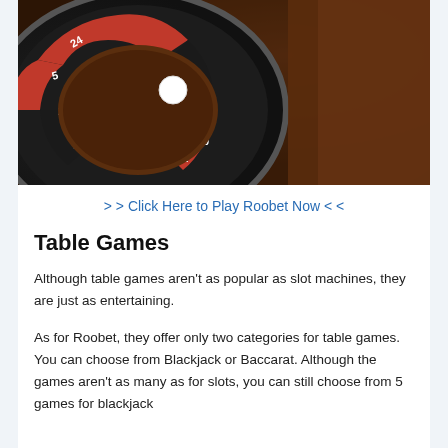[Figure (photo): Close-up photograph of a roulette wheel with a white ball resting on it. The wheel shows numbered red and black slots, with wooden surface visible in the background.]
> > Click Here to Play Roobet Now < <
Table Games
Although table games aren't as popular as slot machines, they are just as entertaining.
As for Roobet, they offer only two categories for table games. You can choose from Blackjack or Baccarat. Although the games aren't as many as for slots, you can still choose from 5 games for blackjack